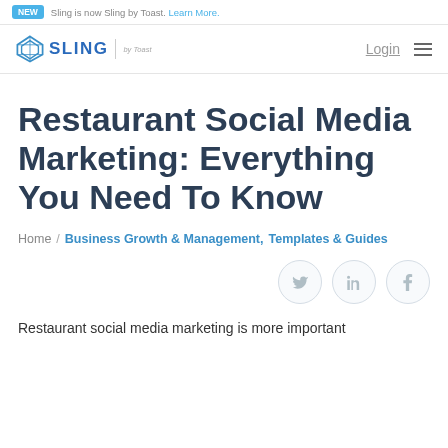NEW Sling is now Sling by Toast. Learn More.
[Figure (logo): Sling by Toast logo with diamond icon]
Restaurant Social Media Marketing: Everything You Need To Know
Home / Business Growth & Management, Templates & Guides
Restaurant social media marketing is more important